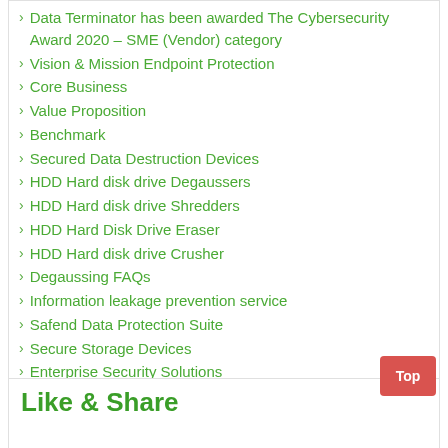Data Terminator has been awarded The Cybersecurity Award 2020 – SME (Vendor) category
Vision & Mission Endpoint Protection
Core Business
Value Proposition
Benchmark
Secured Data Destruction Devices
HDD Hard disk drive Degaussers
HDD Hard disk drive Shredders
HDD Hard Disk Drive Eraser
HDD Hard disk drive Crusher
Degaussing FAQs
Information leakage prevention service
Safend Data Protection Suite
Secure Storage Devices
Enterprise Security Solutions
Like & Share